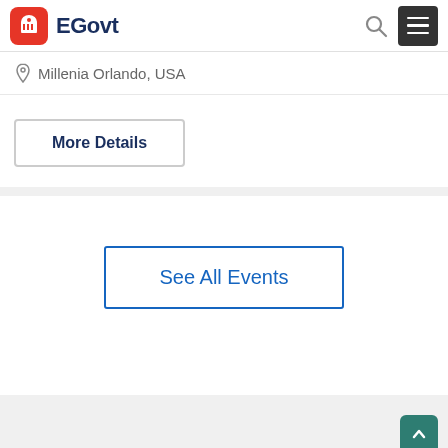EGovt
Millenia Orlando, USA
More Details
See All Events